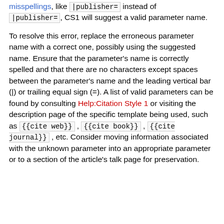misspellings, like |publisher= instead of |publisher= , CS1 will suggest a valid parameter name.
To resolve this error, replace the erroneous parameter name with a correct one, possibly using the suggested name. Ensure that the parameter's name is correctly spelled and that there are no characters except spaces between the parameter's name and the leading vertical bar (|) or trailing equal sign (=). A list of valid parameters can be found by consulting Help:Citation Style 1 or visiting the description page of the specific template being used, such as {{cite web}} , {{cite book}} , {{cite journal}} , etc. Consider moving information associated with the unknown parameter into an appropriate parameter or to a section of the article's talk page for preservation.